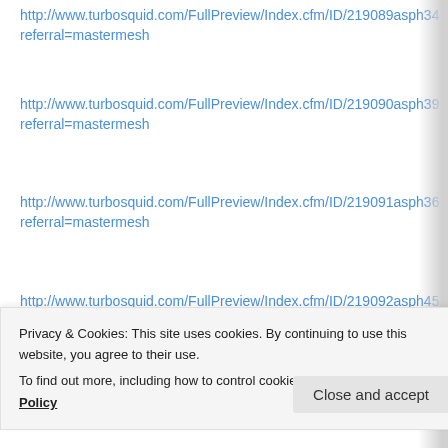http://www.turbosquid.com/FullPreview/Index.cfm/ID/219089asph34. referral=mastermesh
http://www.turbosquid.com/FullPreview/Index.cfm/ID/219090asph39. referral=mastermesh
http://www.turbosquid.com/FullPreview/Index.cfm/ID/219091asph36. referral=mastermesh
http://www.turbosquid.com/FullPreview/Index.cfm/ID/219092asph45. referral=mastermesh
http://www.turbosquid.com/FullPreview/Index.cfm/ID/219093asph37. referral=mastermesh
http://www.turbosquid.com/FullPreview/Index.cfm/ID/219094asph43. referral=mastermesh
http://www.turbosquid.com/FullPreview/Index.cfm/ID/219095asph38. referral=mastermesh
Privacy & Cookies: This site uses cookies. By continuing to use this website, you agree to their use.
To find out more, including how to control cookies, see here: Cookie Policy
Close and accept